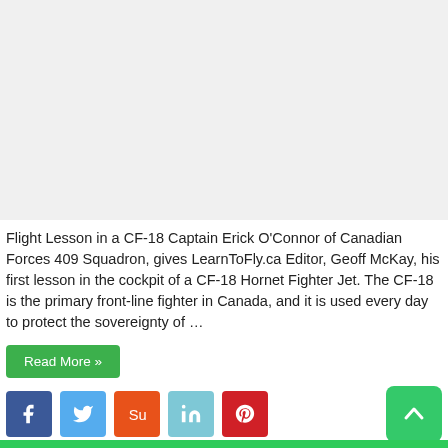[Figure (photo): Light gray placeholder area representing an image (likely a CF-18 cockpit photo)]
Flight Lesson in a CF-18 Captain Erick O’Connor of Canadian Forces 409 Squadron, gives LearnToFly.ca Editor, Geoff McKay, his first lesson in the cockpit of a CF-18 Hornet Fighter Jet. The CF-18 is the primary front-line fighter in Canada, and it is used every day to protect the sovereignty of …
Read More »
[Figure (infographic): Social share buttons row: Facebook (blue), Twitter (light blue), StumbleUpon (orange-red), LinkedIn (teal), Pinterest (red), and a green scroll-to-top arrow button on the far right]